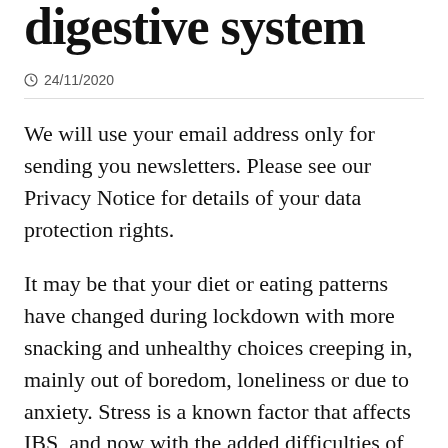digestive system
24/11/2020
We will use your email address only for sending you newsletters. Please see our Privacy Notice for details of your data protection rights.
It may be that your diet or eating patterns have changed during lockdown with more snacking and unhealthy choices creeping in, mainly out of boredom, loneliness or due to anxiety. Stress is a known factor that affects IBS, and now with the added difficulties of lockdown, a flare up of symptoms is not